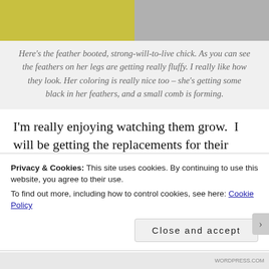[Figure (photo): Two photos side by side: left shows a yellow background with a chick, right shows a chick on a grey/white background with visible feathers.]
Here's the feather booted, strong-will-to-live chick. As you can see the feathers on her legs are getting really fluffy. I really like how they look. Her coloring is really nice too – she's getting some black in her feathers, and a small comb is forming.
I'm really enjoying watching them grow.  I will be getting the replacements for their fallen brethren around April 20th, so I will have even more chicks to watch grow up at that point.  Some day my spare bedroom will stop being a
Privacy & Cookies: This site uses cookies. By continuing to use this website, you agree to their use.
To find out more, including how to control cookies, see here: Cookie Policy
Close and accept